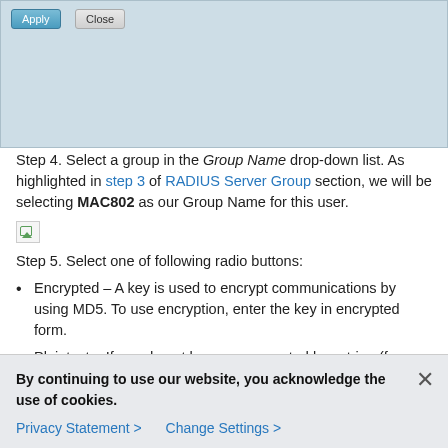[Figure (screenshot): Dialog box with Apply and Close buttons on a light blue background]
Step 4. Select a group in the Group Name drop-down list. As highlighted in step 3 of RADIUS Server Group section, we will be selecting MAC802 as our Group Name for this user.
[Figure (photo): Broken/missing image placeholder]
Step 5. Select one of following radio buttons:
Encrypted – A key is used to encrypt communications by using MD5. To use encryption, enter the key in encrypted form.
Plaintext – If you do not have an encrypted key string (from another device), enter the key string in plaintext
By continuing to use our website, you acknowledge the use of cookies.
Privacy Statement > Change Settings >